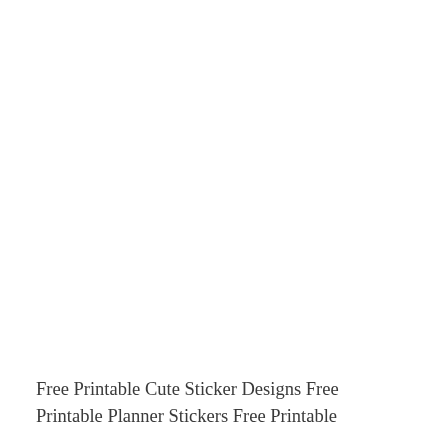Free Printable Cute Sticker Designs Free Printable Planner Stickers Free Printable